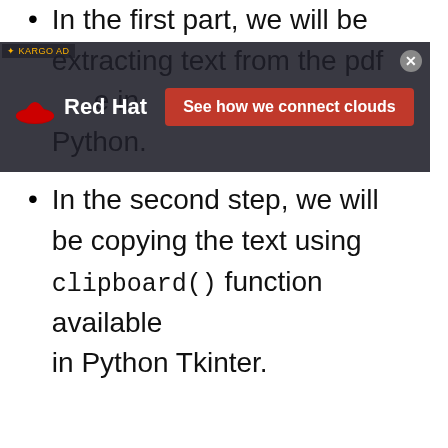In the first part, we will be extracting text from the pdf using Python.
In the second step, we will be copying the text using clipboard() function available in Python Tkinter.